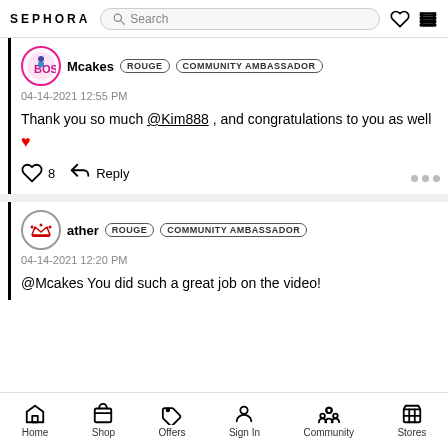SEPHORA — Search bar with heart and cart icons
Mcakes ROUGE COMMUNITY AMBASSADOR — 04-14-2021 12:55 PM — Thank you so much @Kim888 , and congratulations to you as well ❤ — 8 likes — Reply
ather ROUGE COMMUNITY AMBASSADOR — 04-14-2021 12:20 PM — @Mcakes You did such a great job on the video!
Home  Shop  Offers  Sign In  Community  Stores